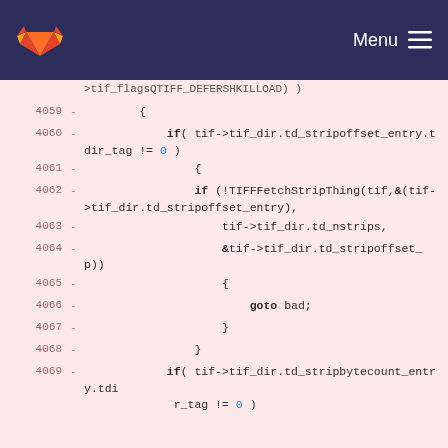GitLab navigation bar with logo and Menu
[Figure (screenshot): GitLab diff view showing deleted C code lines 4059-4069 involving TIFF strip offset and strip byte count entries]
>tif_flagsQTIFF_DEFERSHKILLOAD) )
4059 - {
4060 - if( tif->tif_dir.td_stripoffset_entry.tdir_tag != 0 )
4061 - {
4062 - if (!TIFFFetchStripThing(tif,&(tif->tif_dir.td_stripoffset_entry),
4063 - tif->tif_dir.td_nstrips,
4064 - &tif->tif_dir.td_stripoffset_p))
4065 - {
4066 - goto bad;
4067 - }
4068 - }
4069 - if( tif->tif_dir.td_stripbytecount_entry.tdi r_tag != 0 )